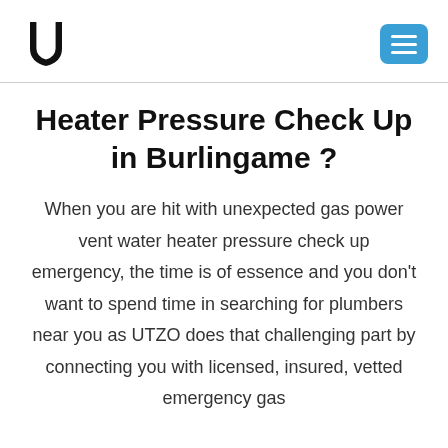UTZO logo and navigation menu
Heater Pressure Check Up in Burlingame ?
When you are hit with unexpected gas power vent water heater pressure check up emergency, the time is of essence and you don't want to spend time in searching for plumbers near you as UTZO does that challenging part by connecting you with licensed, insured, vetted emergency gas